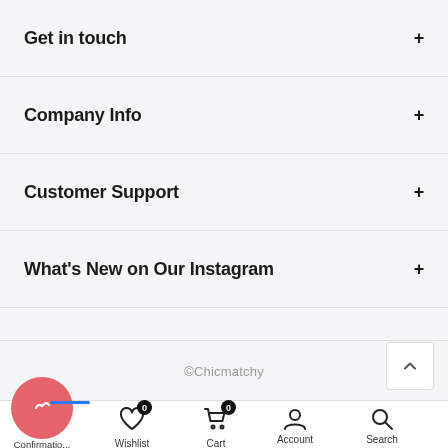Get in touch
Company Info
Customer Support
What's New on Our Instagram
©Chicmatchy
[Figure (screenshot): Mobile app bottom navigation bar with icons for Confirmation, Wishlist (badge 0), Cart (badge 0), Account, and Search]